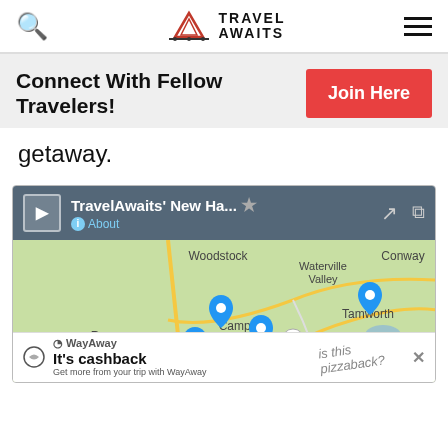Travel Awaits
Connect With Fellow Travelers! Join Here
getaway.
[Figure (map): TravelAwaits' New Ha... map showing New Hampshire region with locations including Woodstock, Waterville Valley, Conway, Tamworth, Campton, Rumney, Plymouth, Moultonborough and route markers 113 and 16]
WayAway - It's cashback. Get more from your trip with WayAway. is this pizzaback?